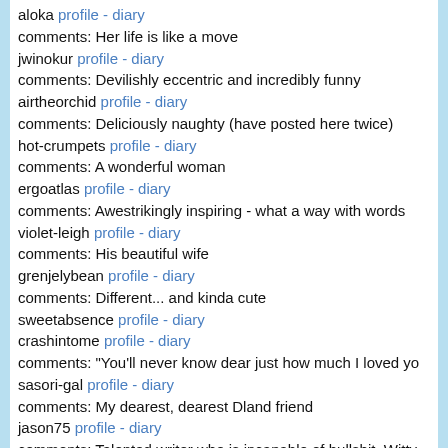aloka profile - diary
comments: Her life is like a move
jwinokur profile - diary
comments: Devilishly eccentric and incredibly funny
airtheorchid profile - diary
comments: Deliciously naughty (have posted here twice)
hot-crumpets profile - diary
comments: A wonderful woman
ergoatlas profile - diary
comments: Awestrikingly inspiring - what a way with words
violet-leigh profile - diary
comments: His beautiful wife
grenjelybean profile - diary
comments: Different... and kinda cute
sweetabsence profile - diary
crashintome profile - diary
comments: "You'll never know dear just how much I loved yo
sasori-gal profile - diary
comments: My dearest, dearest Dland friend
jason75 profile - diary
comments: Talented writer who is incapable of bullshit, Witty, sometimes cynical.
jillchafe18 profile - diary
comments: Sista's foreva!